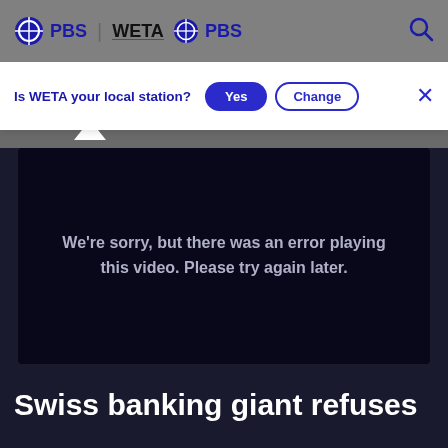PBS | WETA PBS
Is WETA your local station?  Yes  Change  ×
[Figure (screenshot): Video player showing error message: We're sorry, but there was an error playing this video. Please try again later.]
Swiss banking giant refuses